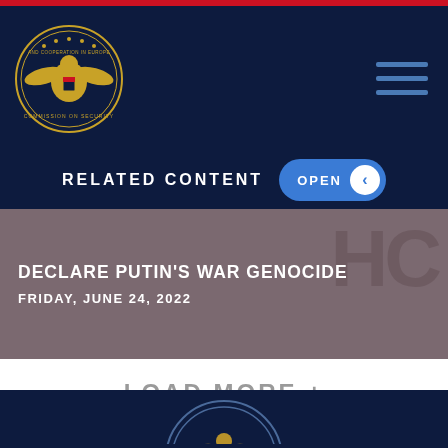[Figure (logo): Commission on Security and Cooperation in Europe seal/logo, gold eagle on dark blue background, circular badge]
[Figure (other): Hamburger menu icon, three horizontal blue lines]
RELATED CONTENT
[Figure (other): OPEN button with left arrow chevron, blue pill shape with white circle arrow]
DECLARE PUTIN'S WAR GENOCIDE
FRIDAY, JUNE 24, 2022
LOAD MORE +
[Figure (logo): Commission on Security and Cooperation in Europe seal, partial view at bottom of page]